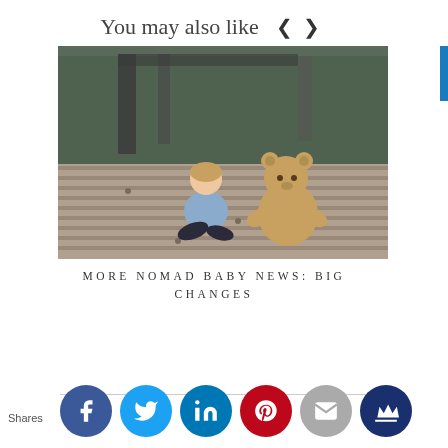You may also like  ‹  ›
[Figure (photo): A toddler sitting on a wooden deck facing away, next to a large teddy bear, with a blurred bridge and trees in the background]
MORE NOMAD BABY NEWS: BIG CHANGES
Shares
[Figure (infographic): Social sharing buttons row: Facebook (blue), Twitter (light blue), LinkedIn (dark blue), Pinterest (red), Email (grey), Crown/other (dark blue)]